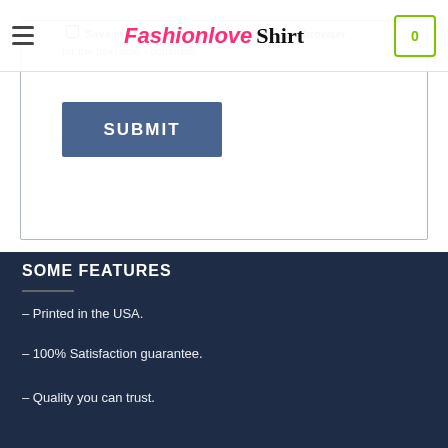FashionLove Shirt
Save my name, email, and website in this browser for the next time I comment.
SUBMIT
SOME FEATURES
– Printed in the USA.
– 100% Satisfaction guarantee.
– Quality you can trust.